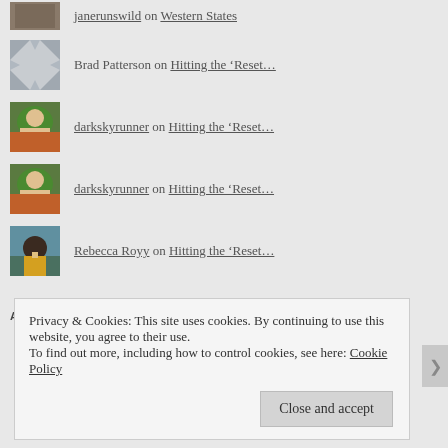janerunswild on Western States
Brad Patterson on Hitting the ‘Reset…
darkskyrunner on Hitting the ‘Reset…
darkskyrunner on Hitting the ‘Reset…
Rebecca Royy on Hitting the ‘Reset…
ARCHIVES
Privacy & Cookies: This site uses cookies. By continuing to use this website, you agree to their use.
To find out more, including how to control cookies, see here: Cookie Policy
Close and accept